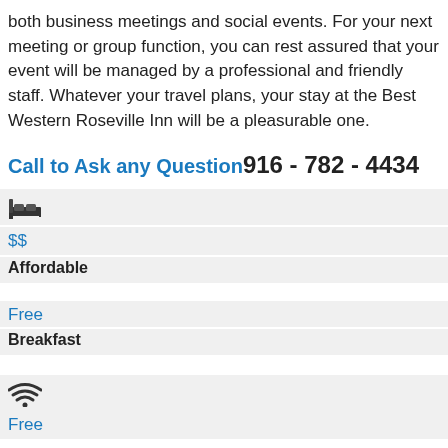both business meetings and social events. For your next meeting or group function, you can rest assured that your event will be managed by a professional and friendly staff. Whatever your travel plans, your stay at the Best Western Roseville Inn will be a pleasurable one.
Call to Ask any Question 916 - 782 - 4434
[Figure (illustration): Bed/hotel room icon]
$$
Affordable
Free
Breakfast
[Figure (illustration): WiFi signal icon]
Free